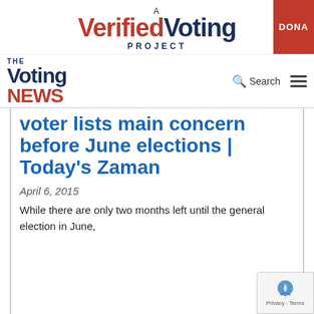A Verified Voting Project | DONATE
[Figure (logo): The Voting News logo with search and hamburger menu icons]
voter lists main concern before June elections | Today's Zaman
April 6, 2015
While there are only two months left until the general election in June,